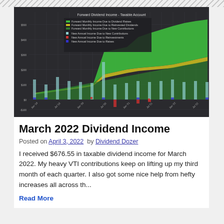[Figure (area-chart): Area chart with bar overlays showing Forward Monthly Income Due to Dividend Raises (green), Forward Monthly Income Due to Reinvested Dividends (yellow), Forward Monthly Income Due to New Contributions (olive/green base), and bar series for New Annual Income components. Dark background chart showing upward trend over time.]
March 2022 Dividend Income
Posted on April 3, 2022 by Dividend Dozer
I received $676.55 in taxable dividend income for March 2022. My heavy VTI contributions keep on lifting up my third month of each quarter. I also got some nice help from hefty increases all across th...
Read More